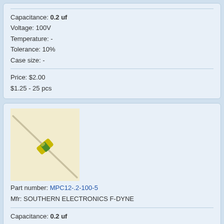Capacitance: 0.2 uf
Voltage: 100V
Temperature: -
Tolerance: 10%
Case size: -
Price: $2.00
$1.25 - 25 pcs
[Figure (photo): Photo of a small yellow capacitor component with wire leads on a cream/beige background]
Part number: MPC12-.2-100-5
Mfr: SOUTHERN ELECTRONICS F-DYNE
Capacitance: 0.2 uf
Voltage: 100V
Temperature: -
Tolerance: 5%
Case size: diameter: 0.25 in, length: 0.53 in
Price: $2.50